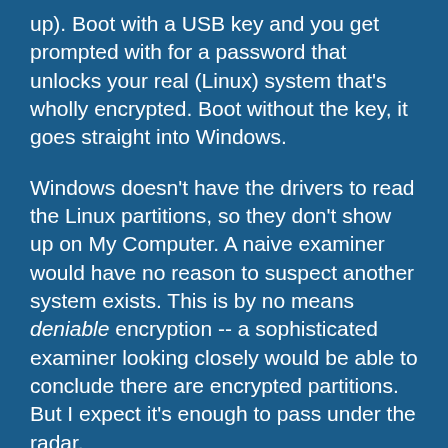up). Boot with a USB key and you get prompted with for a password that unlocks your real (Linux) system that's wholly encrypted. Boot without the key, it goes straight into Windows.
Windows doesn't have the drivers to read the Linux partitions, so they don't show up on My Computer. A naive examiner would have no reason to suspect another system exists. This is by no means deniable encryption -- a sophisticated examiner looking closely would be able to conclude there are encrypted partitions. But I expect it's enough to pass under the radar.
You're on your own for whether you want to risk how suspicious it would look it if were discovered, though.
The USB key itself doesn't have anything interesting looking on it -- just the normal contents of a Linux system's /boot partition. You can remove the key when you're done booting